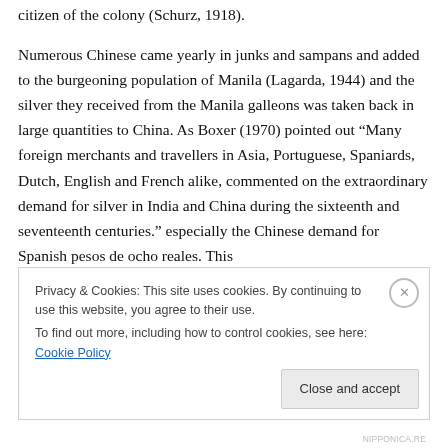citizen of the colony (Schurz, 1918).
Numerous Chinese came yearly in junks and sampans and added to the burgeoning population of Manila (Lagarda, 1944) and the silver they received from the Manila galleons was taken back in large quantities to China. As Boxer (1970) pointed out “Many foreign merchants and travellers in Asia, Portuguese, Spaniards, Dutch, English and French alike, commented on the extraordinary demand for silver in India and China during the sixteenth and seventeenth centuries.” especially the Chinese demand for Spanish pesos de ocho reales. This
Privacy & Cookies: This site uses cookies. By continuing to use this website, you agree to their use.
To find out more, including how to control cookies, see here: Cookie Policy
Close and accept